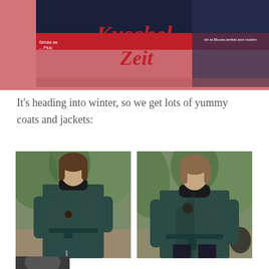[Figure (photo): Magazine cover showing 'Kuschel Zeit' (Cosy Time) with a woman on the cover, pink background with red script lettering]
It's heading into winter, so we get lots of yummy coats and jackets:
[Figure (photo): Woman wearing a teal/dark green multicolored tweed coat with belt, standing outdoors, full length view]
[Figure (photo): Same woman wearing the same teal/dark green multicolored tweed coat, closer upper body view showing large button detail]
[Figure (photo): Partial view of another coat/jacket at bottom of page]